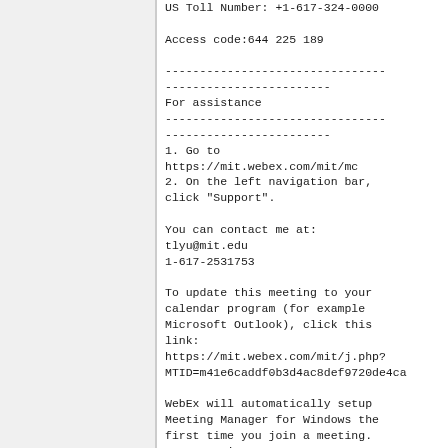US Toll Number: +1-617-324-0000
Access code:644 225 189
--------------------------------
------------------------
For assistance
--------------------------------
------------------------
1. Go to
https://mit.webex.com/mit/mc
2. On the left navigation bar,
click "Support".
You can contact me at:
tlyu@mit.edu
1-617-2531753
To update this meeting to your
calendar program (for example
Microsoft Outlook), click this
link:
https://mit.webex.com/mit/j.php?
MTID=m41e6caddf0b3d4ac8def9720de4ca
WebEx will automatically setup
Meeting Manager for Windows the
first time you join a meeting.
To save time, you can setup
prior to the meeting by
clicking this link:
https://mit.webex.com/mit/meetingce